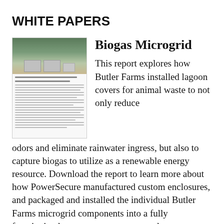WHITE PAPERS
[Figure (photo): Thumbnail image of a white paper document about Biogas Microgrid, showing an aerial/field photo on top and text columns below]
Biogas Microgrid
This report explores how Butler Farms installed lagoon covers for animal waste to not only reduce odors and eliminate rainwater ingress, but also to capture biogas to utilize as a renewable energy resource. Download the report to learn more about how PowerSecure manufactured custom enclosures, and packaged and installed the individual Butler Farms microgrid components into a fully functioning battery storage system and separate